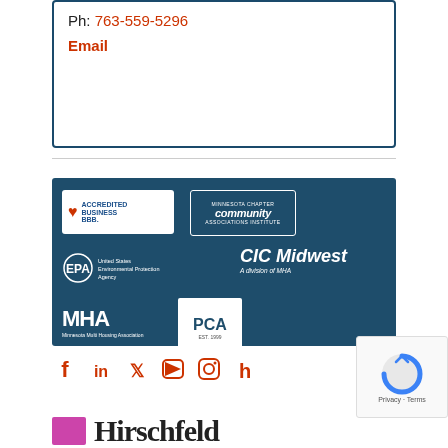Ph: 763-559-5296
Email
[Figure (logo): Affiliation logos panel on dark teal/blue background: BBB Accredited Business badge, Minnesota Chapter Community Associations Institute badge, EPA United States Environmental Protection Agency logo, CIC Midwest A division of MHA logo, MHA Minnesota Multi Housing Association logo, PCA logo]
[Figure (infographic): Social media icons row: Facebook, LinkedIn, Twitter, YouTube, Instagram, Houzz — all in red/orange color]
[Figure (other): Google reCAPTCHA widget showing spinning logo with Privacy - Terms text]
[Figure (logo): Partial footer logo beginning with a colored square icon followed by stylized text]